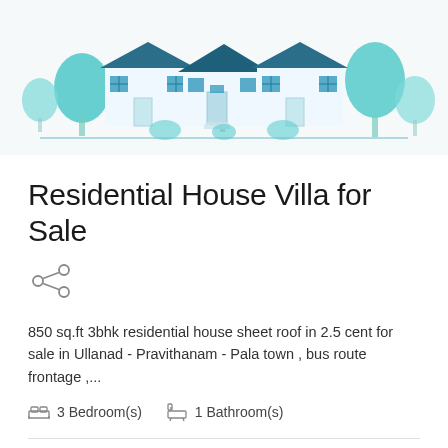[Figure (illustration): Illustration of residential houses with teal/blue color scheme, showing row of houses with trees and bushes in foreground]
Residential House Villa for Sale
[Figure (other): Share icon (connected circles with lines)]
850 sq.ft 3bhk residential house sheet roof in 2.5 cent for sale in Ullanad - Pravithanam - Pala town , bus route frontage ,...
3 Bedroom(s)   1 Bathroom(s)
| Property ID | Posted On |
| --- | --- |
| 11566103 | 26/May/2016 |